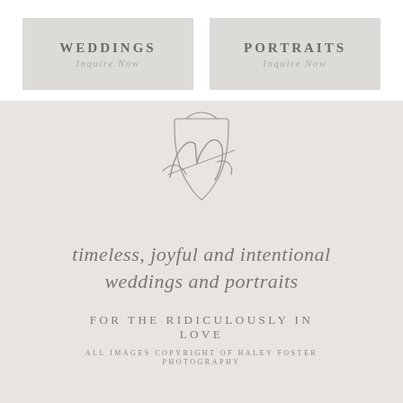[Figure (logo): WEDDINGS nav box with 'Inquire Now' subtitle on gray background]
[Figure (logo): PORTRAITS nav box with 'Inquire Now' subtitle on gray background]
[Figure (logo): Haley Foster Photography shield monogram logo with script H letter]
timeless, joyful and intentional weddings and portraits
FOR THE RIDICULOUSLY IN LOVE
ALL IMAGES COPYRIGHT OF HALEY FOSTER PHOTOGRAPHY